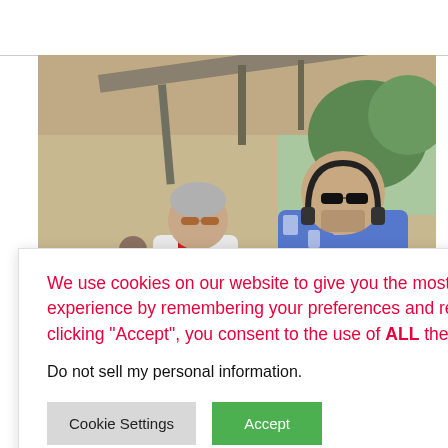[Figure (photo): Outdoor photo of two men at a festival/event: one with grey hair and sunglasses wearing a white shirt with red collar, another bald man with sunglasses wearing a blue and white patterned shirt with headphones around his neck. Watermark 'RUKES.C' visible in bottom right.]
We use cookies on our website to give you the most relevant experience by remembering your preferences and repeat visits. By clicking “Accept”, you consent to the use of ALL the cookies.
Do not sell my personal information.
Cookie Settings
Accept
g To The
Trance legends Above & Beyond are heading to Now